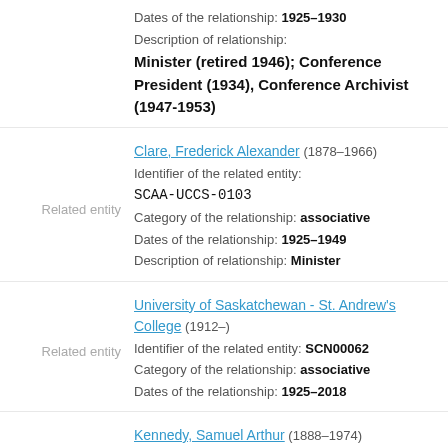Dates of the relationship: 1925–1930
Description of relationship:
Minister (retired 1946); Conference President (1934), Conference Archivist (1947-1953)
Related entity
Clare, Frederick Alexander (1878–1966)
Identifier of the related entity:
SCAA-UCCS-0103
Category of the relationship: associative
Dates of the relationship: 1925–1949
Description of relationship: Minister
Related entity
University of Saskatchewan - St. Andrew's College (1912–)
Identifier of the related entity: SCN00062
Category of the relationship: associative
Dates of the relationship: 1925–2018
Related entity
Kennedy, Samuel Arthur (1888–1974)
Identifier of the related entity:
SCAA-UCCS-0104
Category of the relationship: associative
Dates of the relationship: 1925–1974
Description of relationship:
Minister (retired 1959); Conference